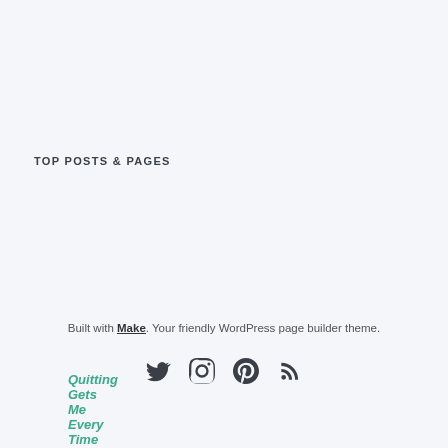TOP POSTS & PAGES
Quitting Gets Me Every Time
Built with Make. Your friendly WordPress page builder theme.
[Figure (other): Social media icons: Twitter, Instagram, Pinterest, RSS]